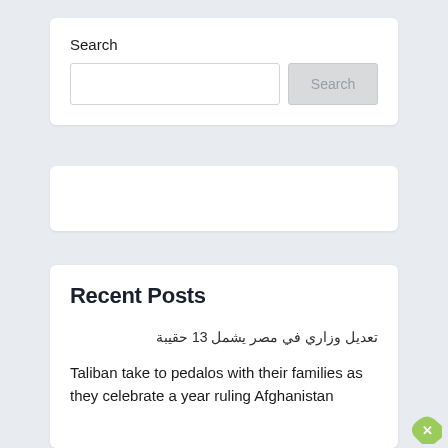Search
[Figure (screenshot): Search input field and Search button]
تعديل وزاري في مصر يشمل 13 حقيبة
Recent Posts
تعديل وزاري في مصر يشمل 13 حقيبة
Taliban take to pedalos with their families as they celebrate a year ruling Afghanistan